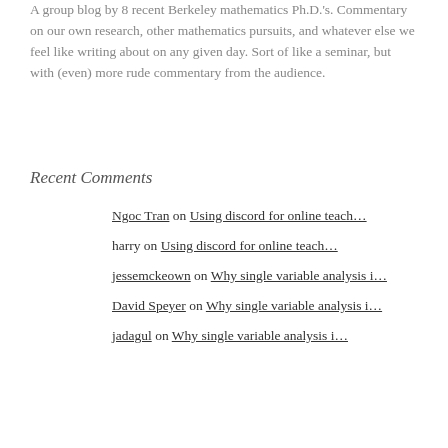A group blog by 8 recent Berkeley mathematics Ph.D.'s. Commentary on our own research, other mathematics pursuits, and whatever else we feel like writing about on any given day. Sort of like a seminar, but with (even) more rude commentary from the audience.
Recent Comments
Ngoc Tran on Using discord for online teach…
harry on Using discord for online teach…
jessemckeown on Why single variable analysis i…
David Speyer on Why single variable analysis i…
jadagul on Why single variable analysis i…